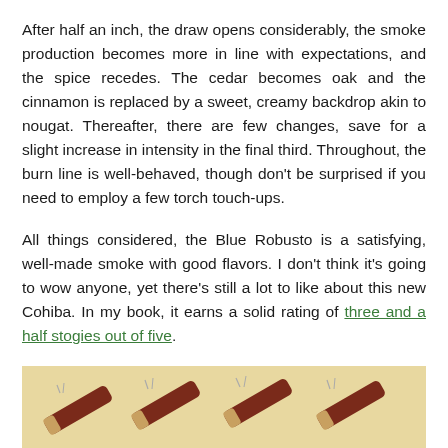After half an inch, the draw opens considerably, the smoke production becomes more in line with expectations, and the spice recedes. The cedar becomes oak and the cinnamon is replaced by a sweet, creamy backdrop akin to nougat. Thereafter, there are few changes, save for a slight increase in intensity in the final third. Throughout, the burn line is well-behaved, though don't be surprised if you need to employ a few torch touch-ups.
All things considered, the Blue Robusto is a satisfying, well-made smoke with good flavors. I don't think it's going to wow anyone, yet there's still a lot to like about this new Cohiba. In my book, it earns a solid rating of three and a half stogies out of five.
[Figure (illustration): Rating image showing 3.5 cigars out of 5 on a tan/beige background. Four cigar illustrations arranged diagonally with smoke wisps above them on a light tan background.]
[To read more Stogie Connoisseur reviews, please click here]